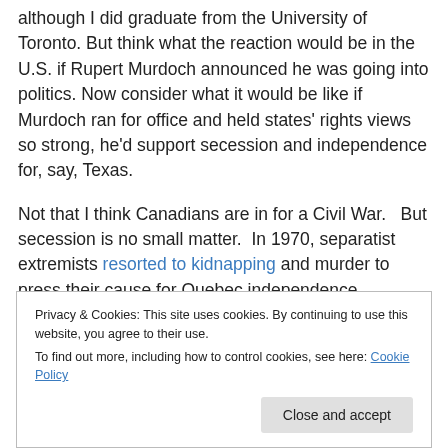although I did graduate from the University of Toronto.  But think what the reaction would be in the U.S. if Rupert Murdoch announced he was going into politics.  Now consider what it would be like if Murdoch ran for office and held states' rights views so strong, he'd support secession and independence for, say, Texas.
Not that I think Canadians are in for a Civil War.   But secession is no small matter.  In 1970, separatist extremists resorted to kidnapping and murder to press their cause for Quebec independence, prompting then
Privacy & Cookies: This site uses cookies. By continuing to use this website, you agree to their use.
To find out more, including how to control cookies, see here: Cookie Policy